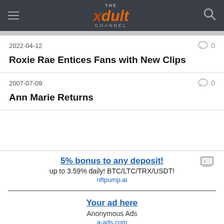THE xdult CHANNEL
2022-04-12
Roxie Rae Entices Fans with New Clips
2007-07-09
Ann Marie Returns
5% bonus to any deposit! up to 3.59% daily! BTC/LTC/TRX/USDT! nftpump.ai
Your ad here Anonymous Ads a-ads.com